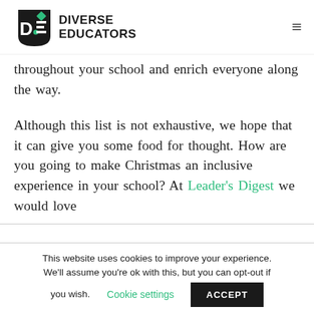[Figure (logo): Diverse Educators logo — black shield shape with green diamond and white D-E letters, text DIVERSE EDUCATORS in bold black sans-serif]
throughout your school and enrich everyone along the way.
Although this list is not exhaustive, we hope that it can give you some food for thought. How are you going to make Christmas an inclusive experience in your school? At Leader's Digest we would love
This website uses cookies to improve your experience. We'll assume you're ok with this, but you can opt-out if you wish.  Cookie settings  ACCEPT